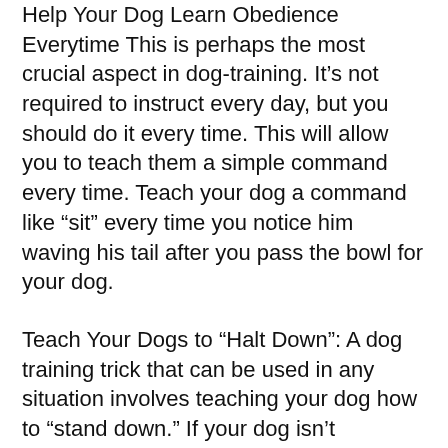Help Your Dog Learn Obedience Everytime This is perhaps the most crucial aspect in dog-training. It’s not required to instruct every day, but you should do it every time. This will allow you to teach them a simple command every time. Teach your dog a command like “sit” every time you notice him waving his tail after you pass the bowl for your dog.
Teach Your Dogs to “Halt Down”: A dog training trick that can be used in any situation involves teaching your dog how to “stand down.” If your dog isn’t performing the action expected to be performed, simply say “down.” The dog will understand that if he is going to remain down, he should stop doing whatever it is he’s doing and simply